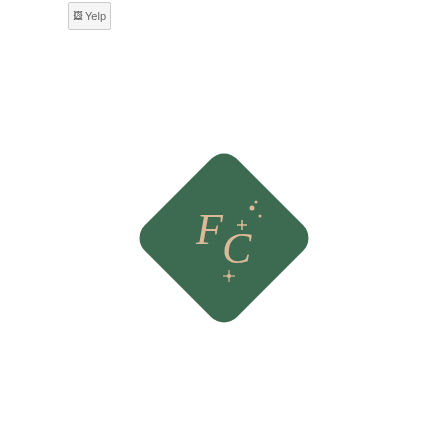[Figure (logo): Yelp logo (broken image placeholder) at top left]
[Figure (logo): FC monogram logo: dark green diamond shape with 'FC' letters and sparkle dots in peach/cream color]
[Figure (logo): Social media icons row: Facebook (blue circle with f), GooglePlus (broken image), Instagram (broken image), Yelp (broken image)]
LEARN MORE ABOUT
SHOP
About Us
Sympathy
Safe Shopping
Birthday